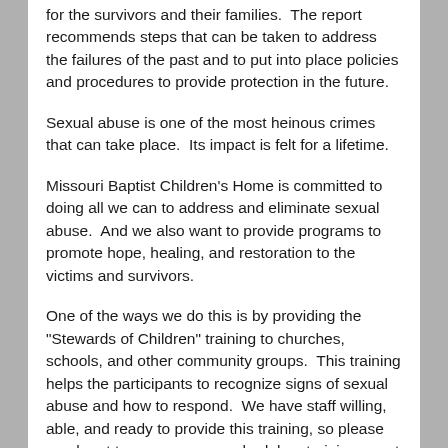for the survivors and their families.  The report recommends steps that can be taken to address the failures of the past and to put into place policies and procedures to provide protection in the future.
Sexual abuse is one of the most heinous crimes that can take place.  Its impact is felt for a lifetime.
Missouri Baptist Children's Home is committed to doing all we can to address and eliminate sexual abuse.  And we also want to provide programs to promote hope, healing, and restoration to the victims and survivors.
One of the ways we do this is by providing the "Stewards of Children" training to churches, schools, and other community groups.  This training helps the participants to recognize signs of sexual abuse and how to respond.  We have staff willing, able, and ready to provide this training, so please reach out to us so we can schedule a training event in your area.  This is done at minimal or no cost to you.
You may know that we provide services to those who have